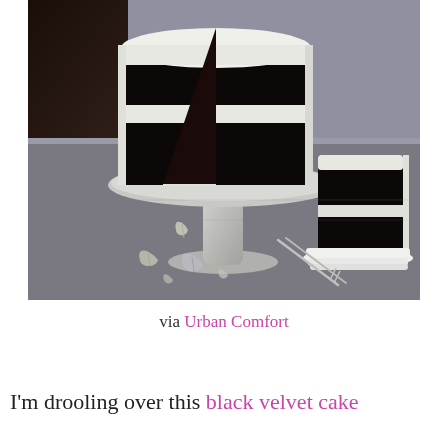[Figure (photo): A dark chocolate layer cake with white frosting on a silver pedestal cake stand. A slice has been cut and placed on white plates to the right, with silver forks on a dark gray tablecloth. Decorative silver leaf ornaments are scattered on the tablecloth.]
via Urban Comfort
I'm drooling over this black velvet cake